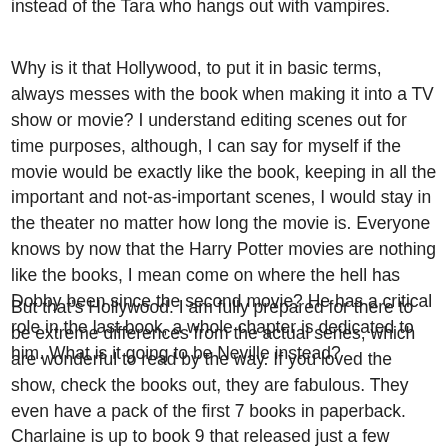instead of the Tara who hangs out with vampires.
Why is it that Hollywood, to put it in basic terms, always messes with the book when making it into a TV show or movie? I understand editing scenes out for time purposes, although, I can say for myself if the movie would be exactly like the book, keeping in all the important and not-as-important scenes, I would stay in the theater no matter how long the movie is. Everyone knows by now that the Harry Potter movies are nothing like the books, I mean come on where the hell has Dobby been since the second movie? He has a critical role in the last book, a whole chapter is dedicated to him. What is it going to be Neville instead?
But that's Hollywood. I am fully prepared for there to be extreme differences from the actual series, which are wonderful to read by the way. If you loved the show, check the books out, they are fabulous. They even have a pack of the first 7 books in paperback. Charlaine is up to book 9 that released just a few weeks ago. There is to be another set of paperbacks releasing books 1-8 later this year. Or if you really love the show, they are revamping the covers to have pictures from the show on it instead of the ones they chose in